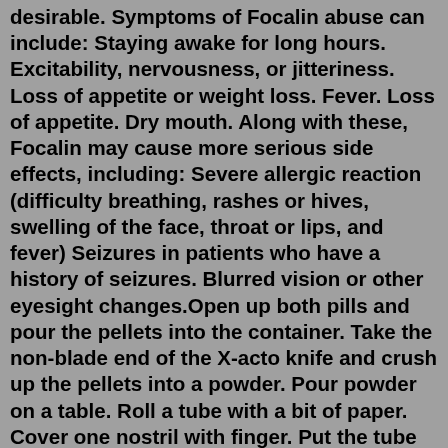desirable. Symptoms of Focalin abuse can include: Staying awake for long hours. Excitability, nervousness, or jitteriness. Loss of appetite or weight loss. Fever. Loss of appetite. Dry mouth. Along with these, Focalin may cause more serious side effects, including: Severe allergic reaction (difficulty breathing, rashes or hives, swelling of the face, throat or lips, and fever) Seizures in patients who have a history of seizures. Blurred vision or other eyesight changes.Open up both pills and pour the pellets into the container. Take the non-blade end of the X-acto knife and crush up the pellets into a powder. Pour powder on a table. Roll a tube with a bit of paper. Cover one nostril with finger. Put the tube to your non-covered nostril and snort the powder. ADDitude magazine reports that the following are the most common side effects of Focalin: Fever Stomach upset Nausea Decreased appetite Other possible physical side effects of Focalin are sleep difficulties, slowed growth in children, vision disturbances and blurred vision, shortness of breath, chest pain, seizures, and